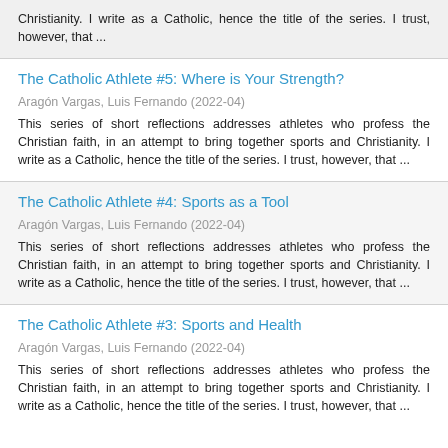Christianity. I write as a Catholic, hence the title of the series. I trust, however, that ...
The Catholic Athlete #5: Where is Your Strength?
Aragón Vargas, Luis Fernando (2022-04)
This series of short reflections addresses athletes who profess the Christian faith, in an attempt to bring together sports and Christianity. I write as a Catholic, hence the title of the series. I trust, however, that ...
The Catholic Athlete #4: Sports as a Tool
Aragón Vargas, Luis Fernando (2022-04)
This series of short reflections addresses athletes who profess the Christian faith, in an attempt to bring together sports and Christianity. I write as a Catholic, hence the title of the series. I trust, however, that ...
The Catholic Athlete #3: Sports and Health
Aragón Vargas, Luis Fernando (2022-04)
This series of short reflections addresses athletes who profess the Christian faith, in an attempt to bring together sports and Christianity. I write as a Catholic, hence the title of the series. I trust, however, that ...